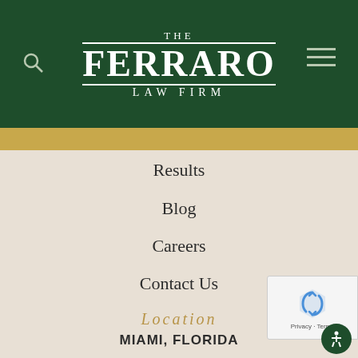[Figure (logo): The Ferraro Law Firm logo on dark green header background with search icon and hamburger menu]
Results
Blog
Careers
Contact Us
Location
MIAMI, FLORIDA
600 Brickell Avenue
Suite 3800
Miami, FL 33131
Phone